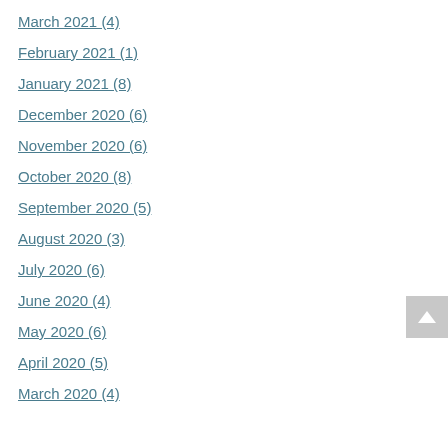March 2021 (4)
February 2021 (1)
January 2021 (8)
December 2020 (6)
November 2020 (6)
October 2020 (8)
September 2020 (5)
August 2020 (3)
July 2020 (6)
June 2020 (4)
May 2020 (6)
April 2020 (5)
March 2020 (4)